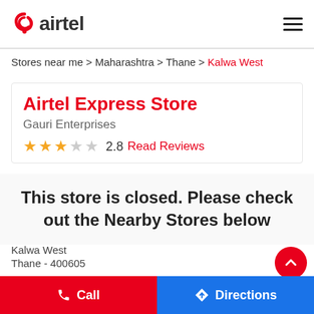airtel
Stores near me > Maharashtra > Thane > Kalwa West
Airtel Express Store
Gauri Enterprises
★★☆☆☆ 2.8  Read Reviews
This store is closed. Please check out the Nearby Stores below
Kalwa West
Thane - 400605
Near ICICI Bank
Call   Directions